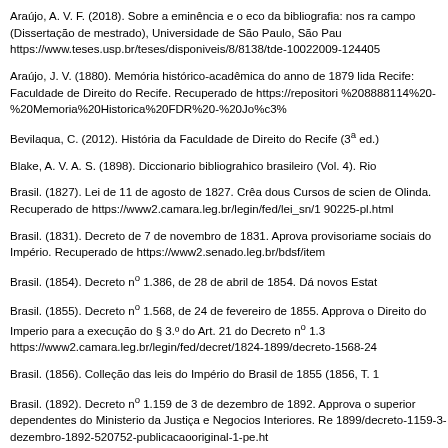Araújo, A. V. F. (2018). Sobre a eminência e o eco da bibliografia: nos ra campo (Dissertação de mestrado), Universidade de São Paulo, São Pau https://www.teses.usp.br/teses/disponiveis/8/8138/tde-10022009-124405
Araújo, J. V. (1880). Memória histórico-acadêmica do anno de 1879 lida Recife: Faculdade de Direito do Recife. Recuperado de https://repositori %208888114%20-%20Memoria%20Historica%20FDR%20-%20Jo%c3%
Bevilaqua, C. (2012). História da Faculdade de Direito do Recife (3ª ed.)
Blake, A. V. A. S. (1898). Diccionario bibliograhico brasileiro (Vol. 4). Rio
Brasil. (1827). Lei de 11 de agosto de 1827. Crêa dous Cursos de scien de Olinda. Recuperado de https://www2.camara.leg.br/legin/fed/lei_sn/1 90225-pl.html
Brasil. (1831). Decreto de 7 de novembro de 1831. Aprova provisoriame sociais do Império. Recuperado de https://www2.senado.leg.br/bdsf/item
Brasil. (1854). Decreto nº 1.386, de 28 de abril de 1854. Dá novos Estat
Brasil. (1855). Decreto nº 1.568, de 24 de fevereiro de 1855. Approva o Direito do Imperio para a execução do § 3.º do Art. 21 do Decreto nº 1.3 https://www2.camara.leg.br/legin/fed/decret/1824-1899/decreto-1568-24
Brasil. (1856). Colleção das leis do Império do Brasil de 1855 (1856, T. 1
Brasil. (1892). Decreto nº 1.159 de 3 de dezembro de 1892. Approva o superior dependentes do Ministerio da Justiça e Negocios Interiores. Re 1899/decreto-1159-3-dezembro-1892-520752-publicacaooriginal-1-pe.ht